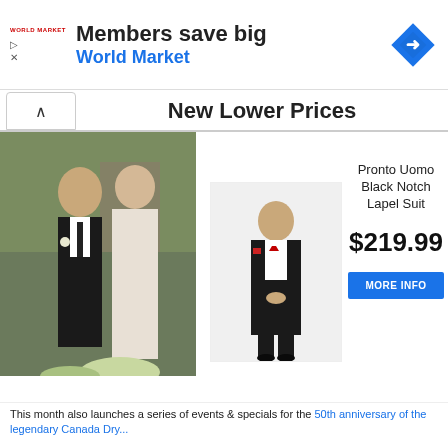[Figure (screenshot): World Market advertisement banner: logo top-left, 'Members save big' heading, 'World Market' subtitle in blue, blue diamond navigation icon top-right, play and close icons on left edge]
New Lower Prices
[Figure (photo): Large photo of a man in a black suit with a woman in a white wedding dress outdoors]
[Figure (photo): Product photo of a man wearing the Pronto Uomo Black Notch Lapel Suit with red bow tie on white background]
Pronto Uomo Black Notch Lapel Suit
$219.99
MORE INFO
This month also launches a series of events & specials for the 50th anniversary of the legendary Canada Dry...